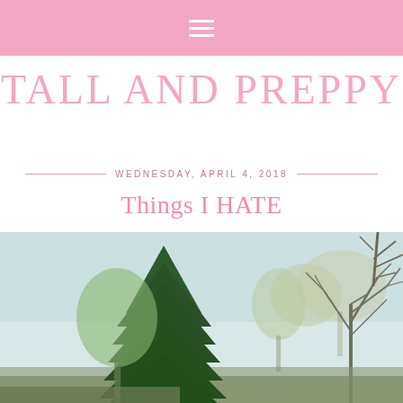≡ (navigation menu icon)
TALL AND PREPPY
WEDNESDAY, APRIL 4, 2018
Things I HATE
[Figure (photo): Outdoor photo showing trees against a light sky, with evergreen trees on the left and bare deciduous trees on the right, taken in early spring.]